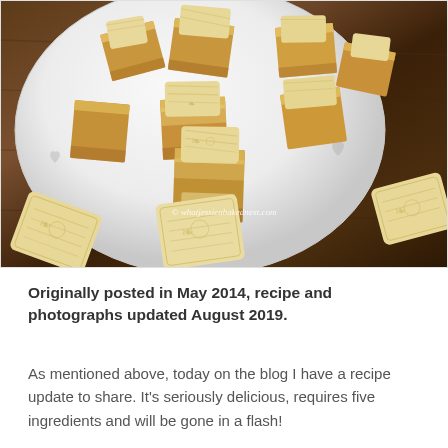[Figure (photo): Close-up photo of pieces of fudge with biscuit pieces on a white plate with heart decorations, placed on a wooden surface. Several biscuits are visible in the foreground. Watermark reads: © whatjessicabakednext.com]
Originally posted in May 2014, recipe and photographs updated August 2019.
As mentioned above, today on the blog I have a recipe update to share. It's seriously delicious, requires five ingredients and will be gone in a flash!